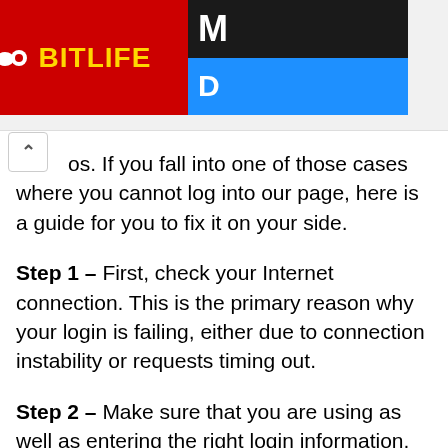[Figure (screenshot): BitLife advertisement banner in red with yellow logo text and dark/blue sections on the right side]
os. If you fall into one of those cases where you cannot log into our page, here is a guide for you to fix it on your side.
Step 1 – First, check your Internet connection. This is the primary reason why your login is failing, either due to connection instability or requests timing out.
Step 2 – Make sure that you are using as well as entering the right login information. Some of our customers have tried using their old passwords and failed. If you can, you can also opt to view your passwords as you type it. However, you should check if anyone is around to see your credentials.